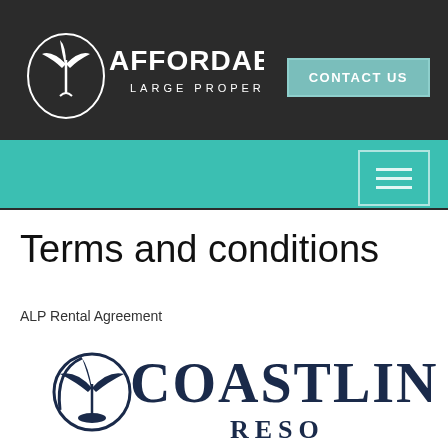[Figure (logo): Affordable Large Properties logo - white text on dark background with palm tree circle motif]
[Figure (screenshot): Contact Us button - teal bordered button on dark background]
[Figure (screenshot): Teal navigation bar with hamburger menu icon]
Terms and conditions
ALP Rental Agreement
[Figure (logo): Coastline Resort logo - large dark navy text partially visible, with palm tree circle motif]